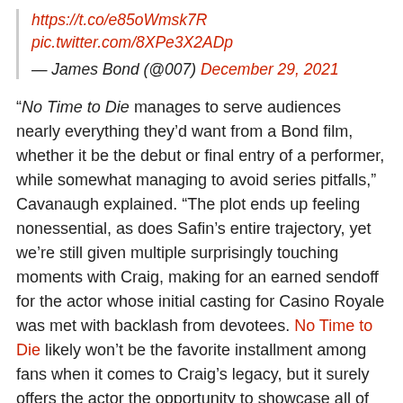https://t.co/e85oWmsk7R
pic.twitter.com/8XPe3X2ADp
— James Bond (@007) December 29, 2021
“No Time to Die manages to serve audiences nearly everything they’d want from a Bond film, whether it be the debut or final entry of a performer, while somewhat managing to avoid series pitfalls,” Cavanaugh explained. “The plot ends up feeling nonessential, as does Safin’s entire trajectory, yet we’re still given multiple surprisingly touching moments with Craig, making for an earned sendoff for the actor whose initial casting for Casino Royale was met with backlash from devotees. No Time to Die likely won’t be the favorite installment among fans when it comes to Craig’s legacy, but it surely offers the actor the opportunity to showcase all of the skills in his arsenal